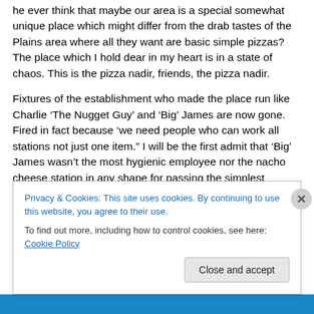he ever think that maybe our area is a special somewhat unique place which might differ from the drab tastes of the Plains area where all they want are basic simple pizzas? The place which I hold dear in my heart is in a state of chaos. This is the pizza nadir, friends, the pizza nadir.
Fixtures of the establishment who made the place run like Charlie ‘The Nugget Guy’ and ‘Big’ James are now gone. Fired in fact because ‘we need people who can work all stations not just one item.” I will be the first admit that ‘Big’ James wasn’t the most hygienic employee nor the nacho cheese station in any shape for passing the simplest...
Privacy & Cookies: This site uses cookies. By continuing to use this website, you agree to their use.
To find out more, including how to control cookies, see here: Cookie Policy